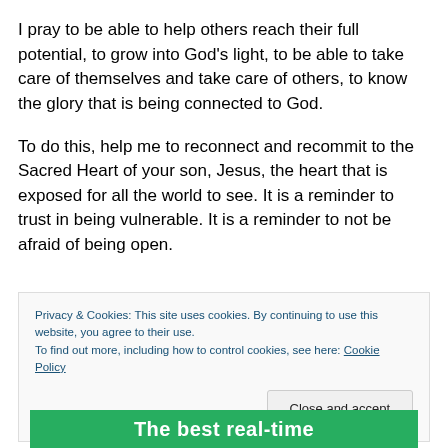I pray to be able to help others reach their full potential, to grow into God's light, to be able to take care of themselves and take care of others, to know the glory that is being connected to God.
To do this, help me to reconnect and recommit to the Sacred Heart of your son, Jesus, the heart that is exposed for all the world to see. It is a reminder to trust in being vulnerable. It is a reminder to not be afraid of being open.
Privacy & Cookies: This site uses cookies. By continuing to use this website, you agree to their use.
To find out more, including how to control cookies, see here: Cookie Policy
Close and accept
The best real-time